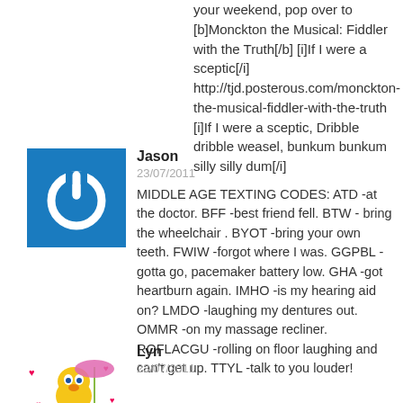your weekend, pop over to [b]Monckton the Musical: Fiddler with the Truth[/b] [i]If I were a sceptic[/i] http://tjd.posterous.com/monckton-the-musical-fiddler-with-the-truth [i]If I were a sceptic, Dribble dribble weasel, bunkum bunkum silly silly dum[/i]
Jason
23/07/2011
MIDDLE AGE TEXTING CODES: ATD -at the doctor. BFF -best friend fell. BTW - bring the wheelchair . BYOT -bring your own teeth. FWIW -forgot where I was. GGPBL -gotta go, pacemaker battery low. GHA -got heartburn again. IMHO -is my hearing aid on? LMDO -laughing my dentures out. OMMR -on my massage recliner. ROFLACGU -rolling on floor laughing and can't get up. TTYL -talk to you louder!
Lyn
23/07/2011